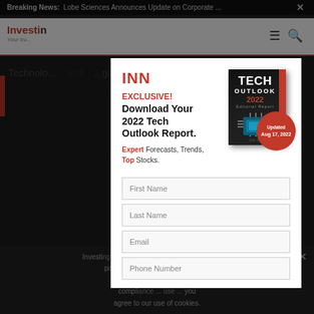Breaking News: Lobe Sciences Announces Update on Corporate ...
[Figure (screenshot): Investing News Network website header with orange INN logo and navigation]
Technology ... gaming
[Figure (illustration): INN modal popup with Tech Outlook 2022 book cover showing updated Aug 17, 2022 badge]
EXCLUSIVE! Download Your 2022 Tech Outlook Report.
Expert Forecasts, Trends, Top Stocks.
First Name
Last Name
Email
Phone Number
Investing ... third-party ... cookie policy ... GDPR compliance ... use of cookies.